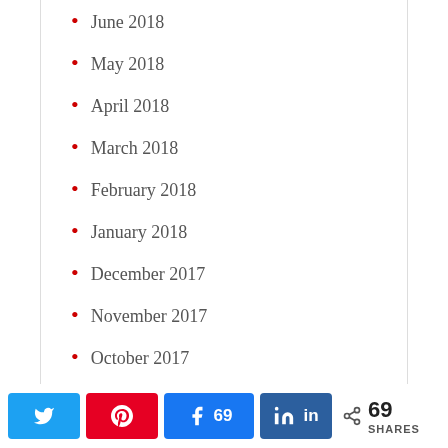June 2018
May 2018
April 2018
March 2018
February 2018
January 2018
December 2017
November 2017
October 2017
September 2017
August 2017
69 SHARES